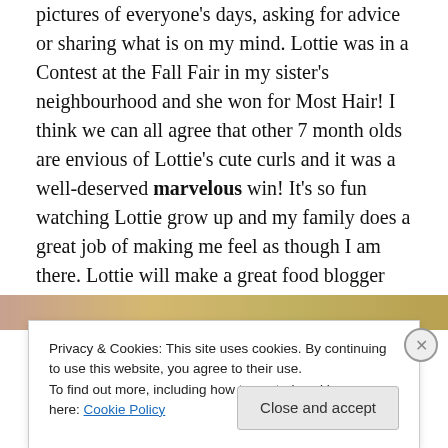pictures of everyone's days, asking for advice or sharing what is on my mind. Lottie was in a Contest at the Fall Fair in my sister's neighbourhood and she won for Most Hair! I think we can all agree that other 7 month olds are envious of Lottie's cute curls and it was a well-deserved marvelous win! It's so fun watching Lottie grow up and my family does a great job of making me feel as though I am there. Lottie will make a great food blogger some day because she loves Sweet Potato and Avocado! I might have to introduce her to Kabocha Squash soon!
[Figure (photo): Partial photo strip visible at top of cookie banner area, showing warm pink and tan tones]
Privacy & Cookies: This site uses cookies. By continuing to use this website, you agree to their use.
To find out more, including how to control cookies, see here: Cookie Policy
Close and accept